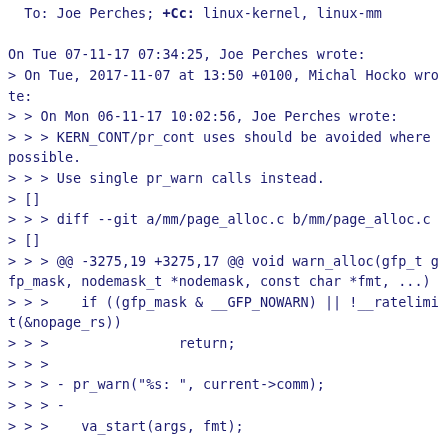To: Joe Perches; +Cc: linux-kernel, linux-mm

On Tue 07-11-17 07:34:25, Joe Perches wrote:
> On Tue, 2017-11-07 at 13:50 +0100, Michal Hocko wrote:
> > On Mon 06-11-17 10:02:56, Joe Perches wrote:
> > > KERN_CONT/pr_cont uses should be avoided where possible.
> > > Use single pr_warn calls instead.
> []
> > > diff --git a/mm/page_alloc.c b/mm/page_alloc.c
> []
> > > @@ -3275,19 +3275,17 @@ void warn_alloc(gfp_t gfp_mask, nodemask_t *nodemask, const char *fmt, ...)
> > >    if ((gfp_mask & __GFP_NOWARN) || !__ratelimit(&nopage_rs))
> > >                return;
> > >
> > > - pr_warn("%s: ", current->comm);
> > > -
> > >    va_start(args, fmt);